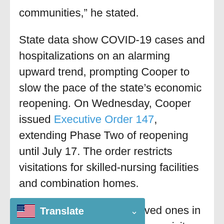communities,” he stated.
State data show COVID-19 cases and hospitalizations on an alarming upward trend, prompting Cooper to slow the pace of the state’s economic reopening. On Wednesday, Cooper issued Executive Order 147, extending Phase Two of reopening until July 17. The order restricts visitations for skilled-nursing facilities and combination homes.
Still, many families with loved ones in nursing homes hope they can visit soon.
“I think we could safely permit some outside visitation,” said Roger Regelbrugge, whose 90-year-old father lives at The Cypress of